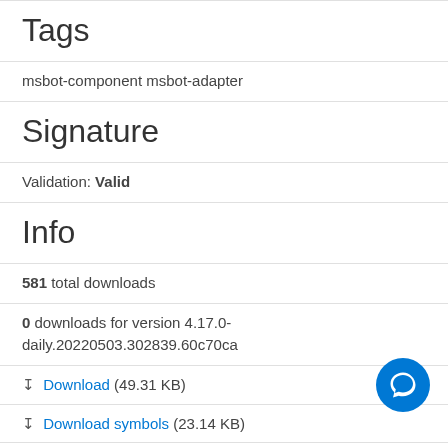Tags
msbot-component msbot-adapter
Signature
Validation: Valid
Info
581 total downloads
0 downloads for version 4.17.0-daily.20220503.302839.60c70ca
Download (49.31 KB)
Download symbols (23.14 KB)